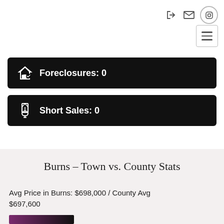Foreclosures: 0
Short Sales: 0
Burns – Town vs. County Stats
Avg Price in Burns: $698,000 / County Avg $697,600